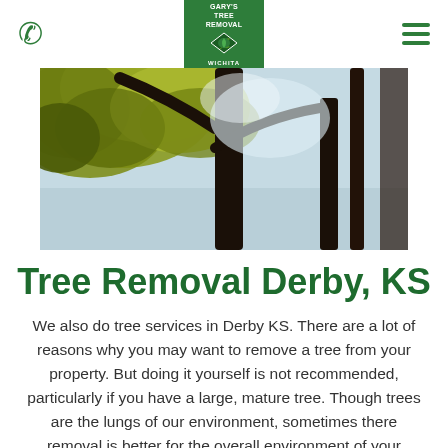Gary's Tree Removal Wichita — phone icon, logo, hamburger menu
[Figure (photo): Looking up through tree branches with yellow-green leaves against a bright sky, dark tree trunks visible]
Tree Removal Derby, KS
We also do tree services in Derby KS. There are a lot of reasons why you may want to remove a tree from your property. But doing it yourself is not recommended, particularly if you have a large, mature tree. Though trees are the lungs of our environment, sometimes there removal is better for the overall environment of your property and your landscaping. We perform safe and efficient tree removal in Derby,